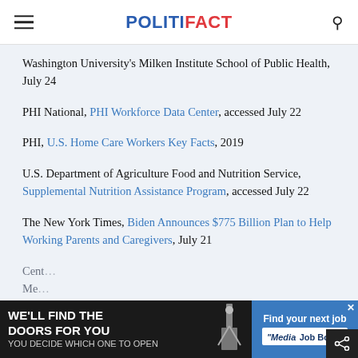POLITIFACT
Washington University's Milken Institute School of Public Health, July 24
PHI National, PHI Workforce Data Center, accessed July 22
PHI, U.S. Home Care Workers Key Facts, 2019
U.S. Department of Agriculture Food and Nutrition Service, Supplemental Nutrition Assistance Program, accessed July 22
The New York Times, Biden Announces $775 Billion Plan to Help Working Parents and Caregivers, July 21
Cent... Me...